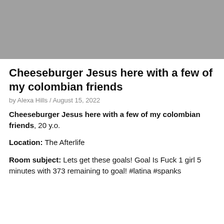[Figure (photo): Gray placeholder image at top of page]
Cheeseburger Jesus here with a few of my colombian friends
by Alexa Hills / August 15, 2022
Cheeseburger Jesus here with a few of my colombian friends, 20 y.o.
Location: The Afterlife
Room subject: Lets get these goals! Goal Is Fuck 1 girl 5 minutes with 373 remaining to goal! #latina #spanks